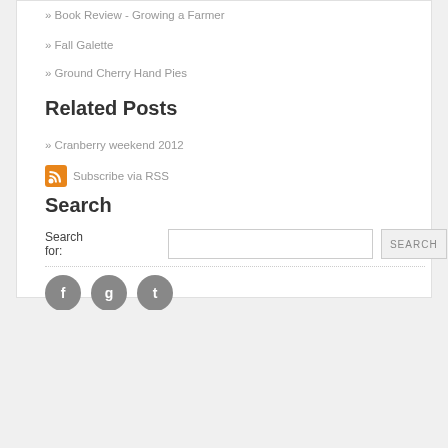» Book Review - Growing a Farmer
» Fall Galette
» Ground Cherry Hand Pies
Related Posts
» Cranberry weekend 2012
Subscribe via RSS
Search
Search for:
Leave a comment
* Name
* E-mail